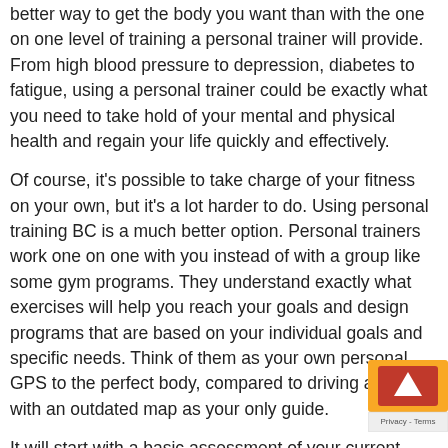better way to get the body you want than with the one on one level of training a personal trainer will provide. From high blood pressure to depression, diabetes to fatigue, using a personal trainer could be exactly what you need to take hold of your mental and physical health and regain your life quickly and effectively.
Of course, it's possible to take charge of your fitness on your own, but it's a lot harder to do. Using personal training BC is a much better option. Personal trainers work one on one with you instead of with a group like some gym programs. They understand exactly what exercises will help you reach your goals and design programs that are based on your individual goals and specific needs. Think of them as your own personal GPS to the perfect body, compared to driving alone with an outdated map as your only guide.
It will start with a basic assessment of your current strength and flexibility, as well as an understanding of your goals. Whether it's a certain weight or a particular level of muscle definition, they'll consider your situation and your goals and then design your plan. One of the
[Figure (other): reCAPTCHA badge widget partially visible in bottom-right corner, showing orange/red colors with an arrow icon, and a 'Privacy - Terms' label below it]